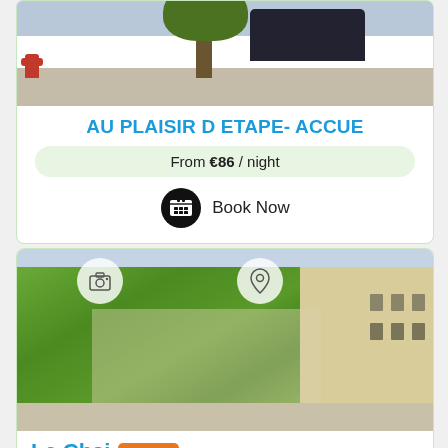[Figure (photo): Top portion of a street scene photo showing a car, tree, and fire hydrant — top of a hotel listing card]
AU PLAISIR D ETAPE- ACCUE
From €86 / night
Book Now
[Figure (photo): Ivy-covered stone building (Le Chai) with trees, photographed from street level. Camera icon and location pin icon overlaid on top corners of the image.]
Le Chai 20.9Km